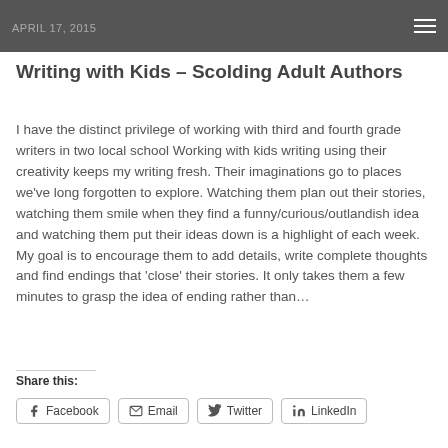April 17, 2015
Writing with Kids – Scolding Adult Authors
I have the distinct privilege of working with third and fourth grade writers in two local school Working with kids writing using their creativity keeps my writing fresh. Their imaginations go to places we've long forgotten to explore. Watching them plan out their stories, watching them smile when they find a funny/curious/outlandish idea and watching them put their ideas down is a highlight of each week. My goal is to encourage them to add details, write complete thoughts and find endings that 'close' their stories. It only takes them a few minutes to grasp the idea of ending rather than…
Share this:
Facebook
Email
Twitter
LinkedIn